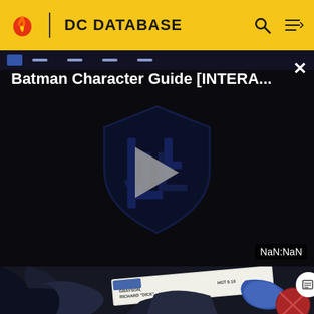DC DATABASE
[Figure (screenshot): Video player showing 'Batman Character Guide [INTERA...' with a Justice League shield logo and play button on dark background. Timestamp shows NaN:NaN.]
[Figure (illustration): Comic book illustration showing a dark-clad figure with a document/card reading 'GRAYSON, RICHARD "DICK" HGT 5 10' visible. A circular emblem appears in lower right.]